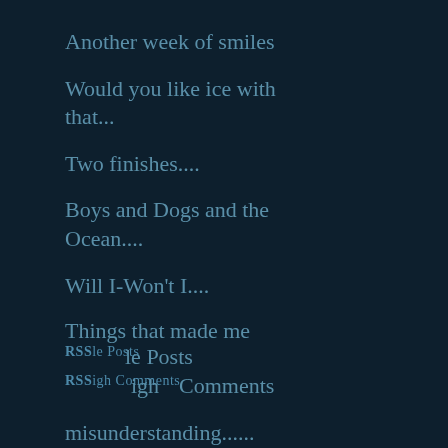Another week of smiles
Would you like ice with that...
Two finishes....
Boys and Dogs and the Ocean....
Will I-Won't I....
Things that made me
RSSle Posts
RSSigh Comments
misunderstanding......
See what happened earlier...